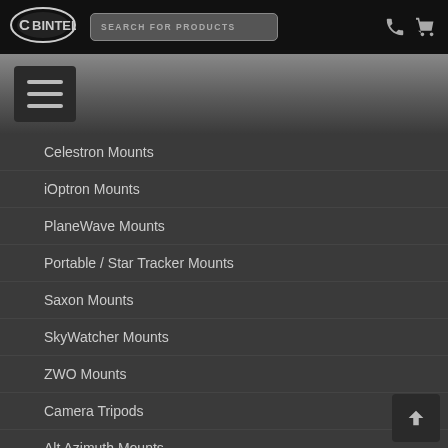BINTEL — SEARCH FOR PRODUCTS
Celestron Mounts
iOptron Mounts
PlaneWave Mounts
Portable / Star Tracker Mounts
Saxon Mounts
SkyWatcher Mounts
ZWO Mounts
Camera Tripods
Alt Azimuth Mounts
Equatorial Mounts
Counterweights
Mount Accessories